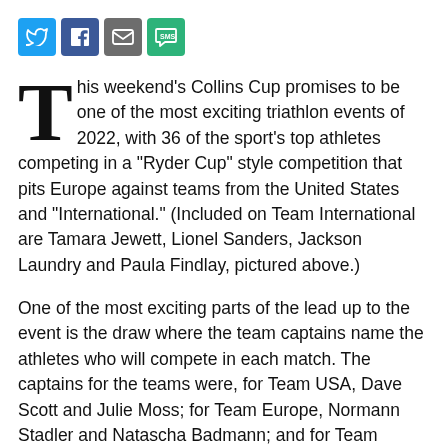[Figure (other): Social media sharing icons: Twitter (blue), Facebook (blue), Email (grey), SMS (green)]
This weekend's Collins Cup promises to be one of the most exciting triathlon events of 2022, with 36 of the sport's top athletes competing in a "Ryder Cup" style competition that pits Europe against teams from the United States and "International." (Included on Team International are Tamara Jewett, Lionel Sanders, Jackson Laundry and Paula Findlay, pictured above.)
One of the most exciting parts of the lead up to the event is the draw where the team captains name the athletes who will compete in each match. The captains for the teams were, for Team USA, Dave Scott and Julie Moss; for Team Europe, Normann Stadler and Natascha Badmann; and for Team International, Craig Alexander and Erin Baker.